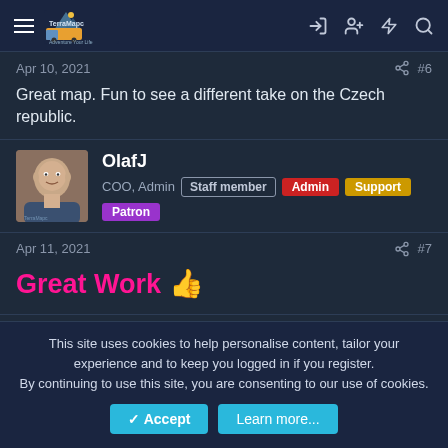TerraMaps navigation header with hamburger menu, logo, login, user, lightning, and search icons
Apr 10, 2021  #6
Great map. Fun to see a different take on the Czech republic.
OlafJ — COO, Admin — Staff member | Admin | Support | Patron
Apr 11, 2021  #7
Great Work 👍
This site uses cookies to help personalise content, tailor your experience and to keep you logged in if you register. By continuing to use this site, you are consenting to our use of cookies. Accept  Learn more...